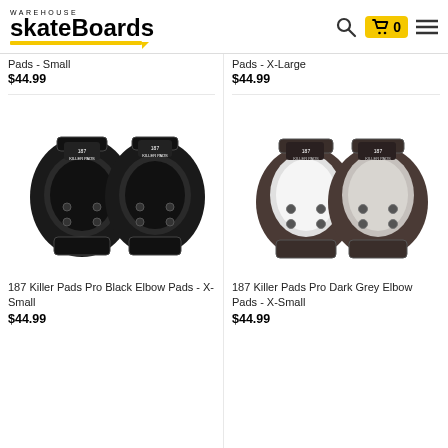Warehouse Skateboards - Search icon, Cart (0), Menu
Pads - Small
$44.99
Pads - X-Large
$44.99
[Figure (photo): 187 Killer Pads Pro Black Elbow Pads - X-Small: two black protective elbow pads with hard plastic caps and velcro straps]
187 Killer Pads Pro Black Elbow Pads - X-Small
$44.99
[Figure (photo): 187 Killer Pads Pro Dark Grey Elbow Pads - X-Small: two dark grey/brown elbow pads with white hard plastic caps]
187 Killer Pads Pro Dark Grey Elbow Pads - X-Small
$44.99